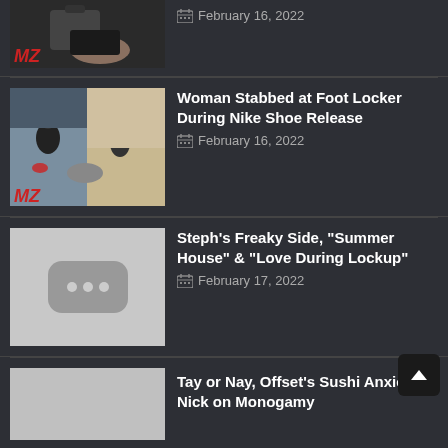[Figure (photo): Partial TMZ thumbnail showing someone holding a phone, cropped at top]
February 16, 2022
[Figure (photo): TMZ thumbnail showing people outside a Foot Locker store]
Woman Stabbed at Foot Locker During Nike Shoe Release
February 16, 2022
[Figure (photo): Placeholder video thumbnail with three dots icon on gray background]
Steph's Freaky Side, "Summer House" & "Love During Lockup"
February 17, 2022
[Figure (photo): Light gray placeholder thumbnail]
Tay or Nay, Offset's Sushi Anxiety & Nick on Monogamy